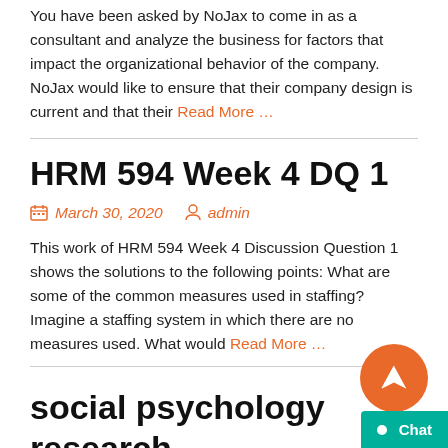You have been asked by NoJax to come in as a consultant and analyze the business for factors that impact the organizational behavior of the company. NoJax would like to ensure that their company design is current and that their Read More …
HRM 594 Week 4 DQ 1
March 30, 2020   admin
This work of HRM 594 Week 4 Discussion Question 1 shows the solutions to the following points: What are some of the common measures used in staffing? Imagine a staffing system in which there are no measures used. What would Read More …
social psychology research…